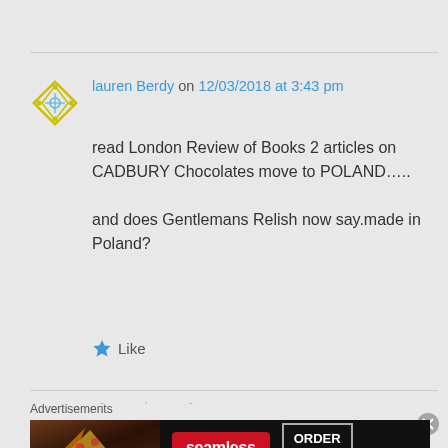lauren Berdy on 12/03/2018 at 3:43 pm
read London Review of Books 2 articles on CADBURY Chocolates move to POLAND…..

and does Gentlemans Relish now say.made in Poland?
Like
Advertisements